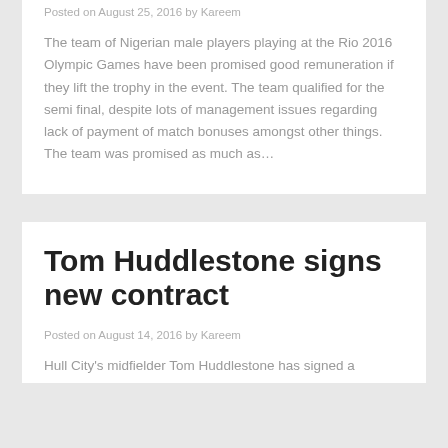Posted on August 25, 2016 by Kareem
The team of Nigerian male players playing at the Rio 2016 Olympic Games have been promised good remuneration if they lift the trophy in the event. The team qualified for the semi final, despite lots of management issues regarding lack of payment of match bonuses amongst other things. The team was promised as much as…
Tom Huddlestone signs new contract
Posted on August 14, 2016 by Kareem
Hull City's midfielder Tom Huddlestone has signed a